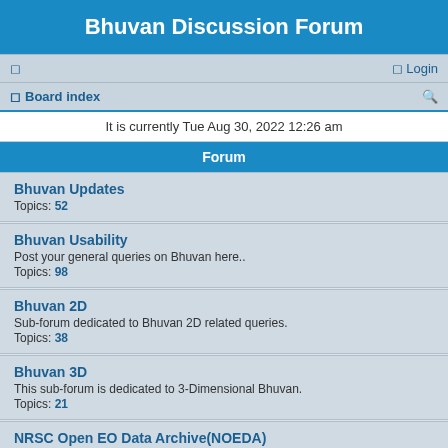Bhuvan Discussion Forum
Login
Board index
It is currently Tue Aug 30, 2022 12:26 am
Forum
Bhuvan Updates
Topics: 52
Bhuvan Usability
Post your general queries on Bhuvan here..
Topics: 98
Bhuvan 2D
Sub-forum dedicated to Bhuvan 2D related queries.
Topics: 38
Bhuvan 3D
This sub-forum is dedicated to 3-Dimensional Bhuvan.
Topics: 21
NRSC Open EO Data Archive(NOEDA)
Download satellite data and products from this portal..
Topics: 27
Thematic Services
Visualize/analyse Thematic Datasets and consume as OGC Web Services..